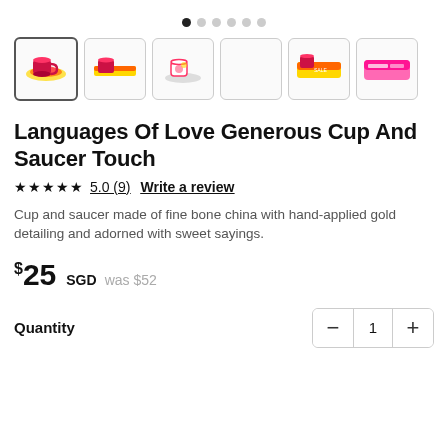[Figure (other): Image carousel dot navigation indicator with 6 dots, first dot filled/active]
[Figure (other): Row of 6 product thumbnail images: colorful cup and saucer set variants]
Languages Of Love Generous Cup And Saucer Touch
★★★★★ 5.0 (9)  Write a review
Cup and saucer made of fine bone china with hand-applied gold detailing and adorned with sweet sayings.
$25 SGD  was $52
Quantity  —  1  +